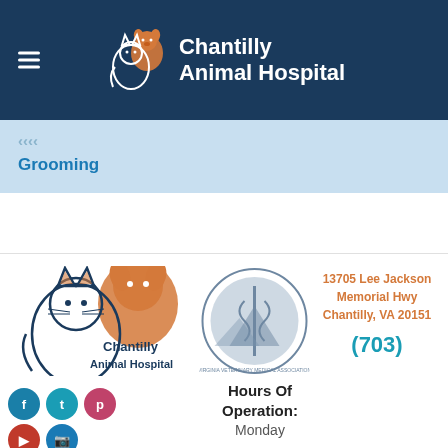[Figure (logo): Chantilly Animal Hospital header logo with cat and dog illustration and white text on dark navy background]
Grooming
[Figure (logo): Chantilly Animal Hospital footer logo with orange cat and dog illustration and navy text, overlaid with Virginia Veterinary Medical Association circular badge]
13705 Lee Jackson Memorial Hwy Chantilly, VA 20151
Hours Of Operation: Monday
(703)